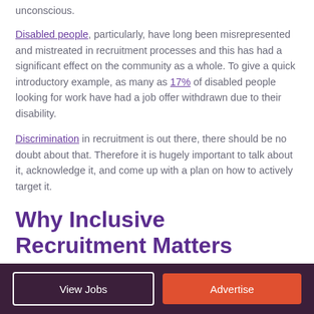unconscious.
Disabled people, particularly, have long been misrepresented and mistreated in recruitment processes and this has had a significant effect on the community as a whole. To give a quick introductory example, as many as 17% of disabled people looking for work have had a job offer withdrawn due to their disability.
Discrimination in recruitment is out there, there should be no doubt about that. Therefore it is hugely important to talk about it, acknowledge it, and come up with a plan on how to actively target it.
Why Inclusive Recruitment Matters
View Jobs  Advertise